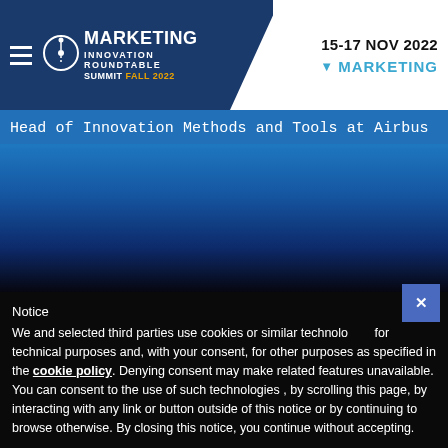Marketing Innovation Roundtable Summit Fall 2022 — 15-17 NOV 2022 ▼ MARKETING
Head of Innovation Methods and Tools at Airbus
[Figure (other): Blue gradient background area representing website banner section]
Notice
We and selected third parties use cookies or similar technologies for technical purposes and, with your consent, for other purposes as specified in the cookie policy. Denying consent may make related features unavailable.
You can consent to the use of such technologies , by scrolling this page, by interacting with any link or button outside of this notice or by continuing to browse otherwise. By closing this notice, you continue without accepting.